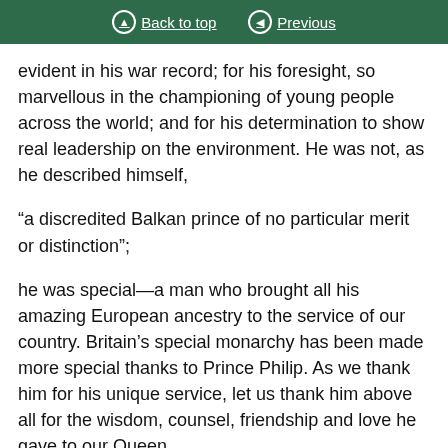Back to top | Previous
evident in his war record; for his foresight, so marvellous in the championing of young people across the world; and for his determination to show real leadership on the environment. He was not, as he described himself,
“a discredited Balkan prince of no particular merit or distinction”;
he was special—a man who brought all his amazing European ancestry to the service of our country. Britain’s special monarchy has been made more special thanks to Prince Philip. As we thank him for his unique service, let us thank him above all for the wisdom, counsel, friendship and love he gave to our Queen.